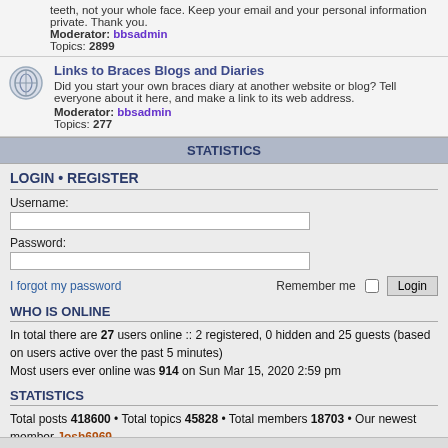teeth, not your whole face. Keep your email and your personal information private. Thank you.
Moderator: bbsadmin
Topics: 2899
Links to Braces Blogs and Diaries
Did you start your own braces diary at another website or blog? Tell everyone about it here, and make a link to its web address.
Moderator: bbsadmin
Topics: 277
STATISTICS
LOGIN • REGISTER
Username:
Password:
I forgot my password
Remember me
WHO IS ONLINE
In total there are 27 users online :: 2 registered, 0 hidden and 25 guests (based on users active over the past 5 minutes)
Most users ever online was 914 on Sun Mar 15, 2020 2:59 pm
STATISTICS
Total posts 418600 • Total topics 45828 • Total members 18703 • Our newest member Josh6969